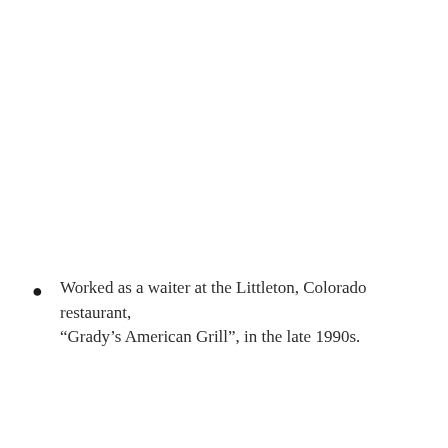Worked as a waiter at the Littleton, Colorado restaurant, “Grady’s American Grill”, in the late 1990s.